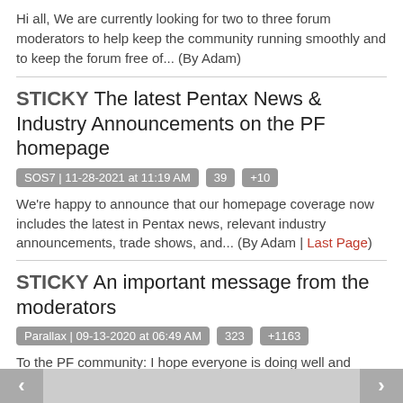Hi all, We are currently looking for two to three forum moderators to help keep the community running smoothly and to keep the forum free of... (By Adam)
STICKY The latest Pentax News & Industry Announcements on the PF homepage
SOS7 | 11-28-2021 at 11:19 AM | 39 | +10
We're happy to announce that our homepage coverage now includes the latest in Pentax news, relevant industry announcements, trade shows, and... (By Adam | Last Page)
STICKY An important message from the moderators
Parallax | 09-13-2020 at 06:49 AM | 323 | +1163
To the PF community: I hope everyone is doing well and staying healthy in these unprecedented times (please check out our statement on the... (By Adam | Last Page)
STICKY Speculative threads belong elsewhere!